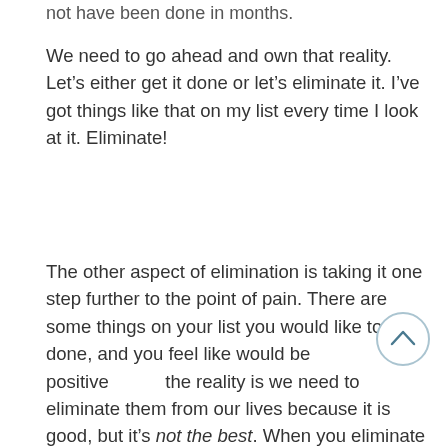not have been done in months.
We need to go ahead and own that reality. Let’s either get it done or let’s eliminate it. I’ve got things like that on my list every time I look at it. Eliminate!
The other aspect of elimination is taking it one step further to the point of pain. There are some things on your list you would like to get done, and you feel like would be positive the reality is we need to eliminate them from our lives because it is good, but it’s not the best. When you eliminate to the point of the best,